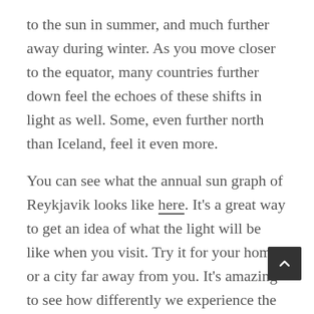to the sun in summer, and much further away during winter. As you move closer to the equator, many countries further down feel the echoes of these shifts in light as well. Some, even further north than Iceland, feel it even more.
You can see what the annual sun graph of Reykjavik looks like here. It's a great way to get an idea of what the light will be like when you visit. Try it for your home, or a city far away from you. It's amazing to see how differently we experience the world- even at the same time.
The Icelandic settlers of old had to balance th survival with this harsh cycle- and created a